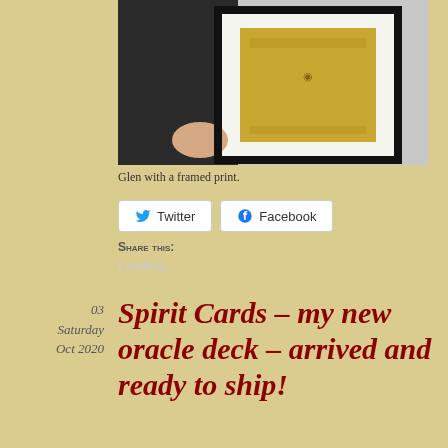[Figure (photo): Person (Glen) holding a framed print with a dark black frame against a white background]
Glen with a framed print.
Share this: Twitter Facebook
Loading...
03
Saturday
Oct 2020
Spirit Cards – my new oracle deck – arrived and ready to ship!